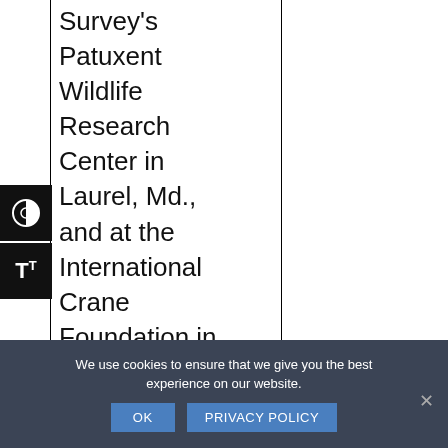|  | Survey's Patuxent Wildlife Research Center in Laurel, Md., and at the International Crane Foundation in |  |
We use cookies to ensure that we give you the best experience on our website.